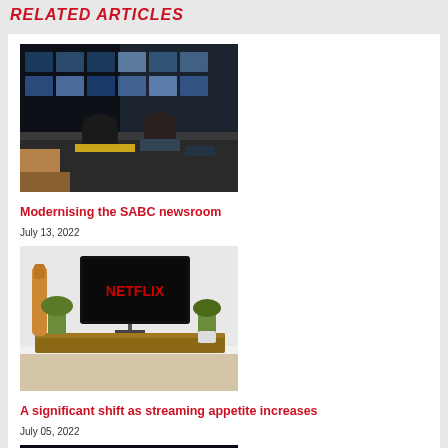RELATED ARTICLES
[Figure (photo): TV broadcast control room with multiple screens and people working at consoles]
Modernising the SABC newsroom
July 13, 2022
[Figure (photo): Person relaxing watching Netflix on a TV in a living room with a guitar and plants]
A significant shift as streaming appetite increases
July 05, 2022
[Figure (photo): Dark image with colorful screens or displays visible]